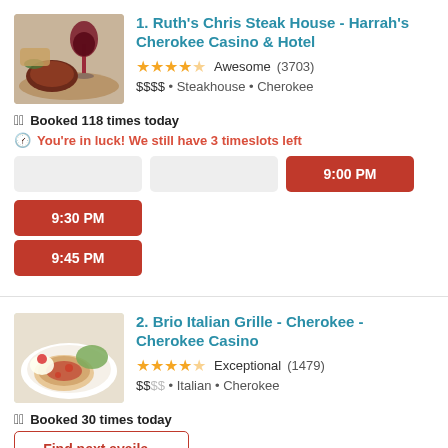[Figure (photo): Food photo showing steak and wine glass]
1. Ruth's Chris Steak House - Harrah's Cherokee Casino & Hotel
★★★★½ Awesome (3703)
$$$$ • Steakhouse • Cherokee
Booked 118 times today
You're in luck! We still have 3 timeslots left
9:00 PM  9:30 PM  9:45 PM
[Figure (photo): Food photo showing Italian dish with pasta and sauce]
2. Brio Italian Grille - Cherokee - Cherokee Casino
★★★★½ Exceptional (1479)
$$•• • Italian • Cherokee
Booked 30 times today
Find next available...